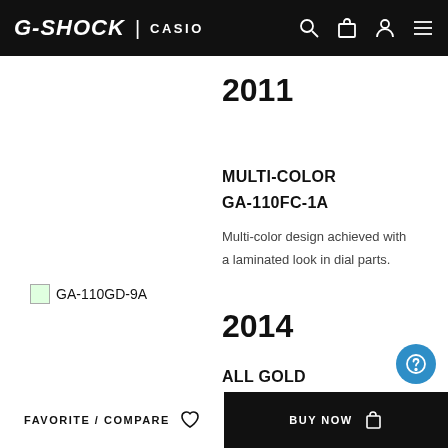G-SHOCK | CASIO
2011
MULTI-COLOR
GA-110FC-1A
Multi-color design achieved with a laminated look in dial parts.
[Figure (photo): Watch image placeholder for GA-110GD-9A]
2014
ALL GOLD
FAVORITE / COMPARE   BUY NOW